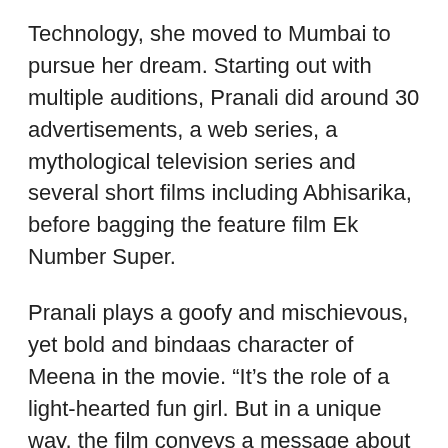Technology, she moved to Mumbai to pursue her dream. Starting out with multiple auditions, Pranali did around 30 advertisements, a web series, a mythological television series and several short films including Abhisarika, before bagging the feature film Ek Number Super.
Pranali plays a goofy and mischievous, yet bold and bindaas character of Meena in the movie. “It’s the role of a light-hearted fun girl. But in a unique way, the film conveys a message about respecting women and not objectifying them,” she informs.